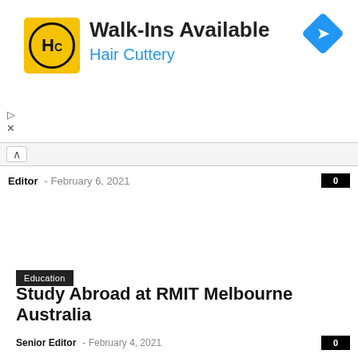[Figure (logo): Hair Cuttery advertisement banner with yellow HC logo, 'Walk-Ins Available' headline, 'Hair Cuttery' subtitle in blue, and blue navigation diamond icon]
Editor · February 6, 2021
0
Education
Study Abroad at RMIT Melbourne Australia
Senior Editor · February 4, 2021
0